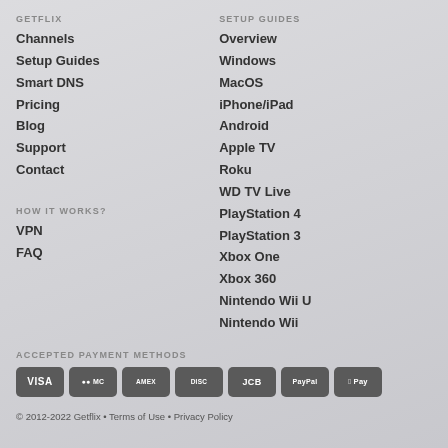GETFLIX
Channels
Setup Guides
Smart DNS
Pricing
Blog
Support
Contact
HOW IT WORKS?
VPN
FAQ
SETUP GUIDES
Overview
Windows
MacOS
iPhone/iPad
Android
Apple TV
Roku
WD TV Live
PlayStation 4
PlayStation 3
Xbox One
Xbox 360
Nintendo Wii U
Nintendo Wii
ACCEPTED PAYMENT METHODS
[Figure (infographic): Payment method badges: VISA, Mastercard, American Express, Discover, JCB, PayPal, Apple Pay]
© 2012-2022 Getflix • Terms of Use • Privacy Policy